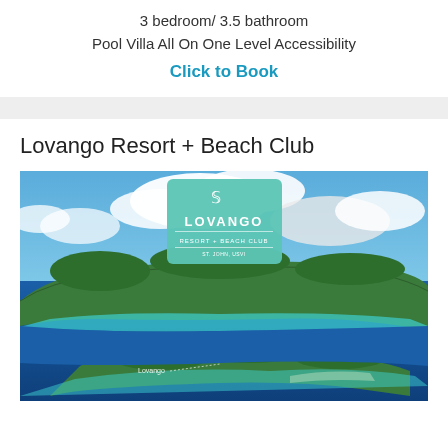3 bedroom/ 3.5 bathroom
Pool Villa All On One Level Accessibility
Click to Book
Lovango Resort + Beach Club
[Figure (photo): Aerial photograph of Lovango island and surrounding islands with turquoise waters and blue sky with clouds. Lovango Resort + Beach Club logo overlay in teal/mint green square in upper center of image. Small label 'Lovango' with dotted line pointing to smaller island in foreground.]